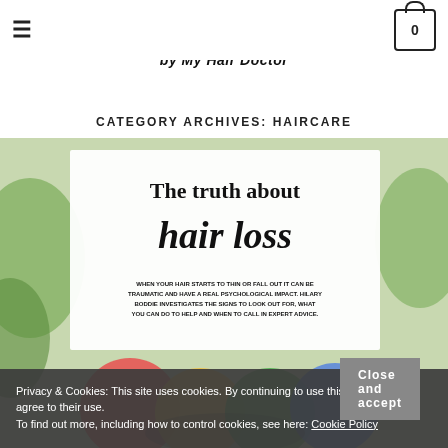[Figure (logo): MHD by My Hair Doctor logo with hamburger menu and cart icon]
CATEGORY ARCHIVES: HAIRCARE
[Figure (photo): Magazine-style article image titled 'The truth about hair loss' with subtitle text about hair thinning and psychological impact]
Privacy & Cookies: This site uses cookies. By continuing to use this website, you agree to their use.
To find out more, including how to control cookies, see here: Cookie Policy
Close and accept